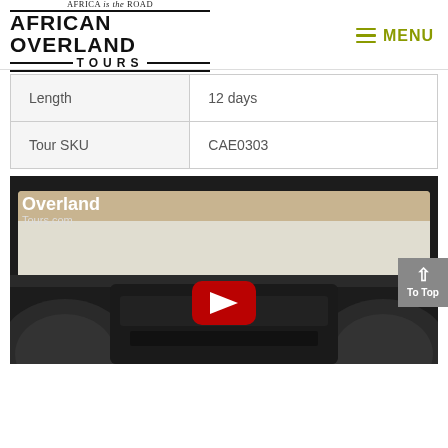[Figure (logo): African Overland Tours logo with tagline 'Africa is the Road']
| Length | 12 days |
| Tour SKU | CAE0303 |
[Figure (screenshot): YouTube video thumbnail showing interior view of a vehicle with Overland Tours.com branding and a red play button overlay]